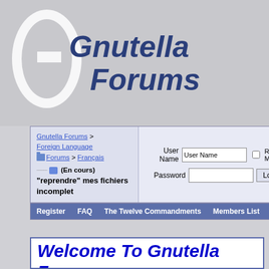[Figure (logo): Gnutella Forums logo with large 'G' letter shape and bold italic text 'Gnutella Forums']
Gnutella Forums > Foreign Language Forums > Français
(En cours) "reprendre" mes fichiers incomplet
User Name | Password | Remember Me? | Log in
Register  FAQ  The Twelve Commandments  Members List  Calendar  Ar...
Welcome To Gnutella Forums